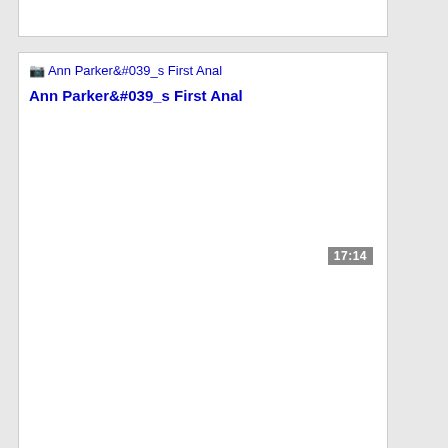[Figure (screenshot): Truncated top card with white background, partially visible at top of page]
[Figure (screenshot): Video card showing broken image icon with alt text 'Ann Parker&#039_s First Anal', a timestamp badge '17:14', and bold blue title text 'Ann Parker&#039_s First Anal']
Ann Parker&#039_s First Anal
17:14
Ann Parker&#039_s First Anal
[Figure (photo): Video thumbnail showing close-up skin-tone image with timestamp badge '05:51' and watermark text in lower right corner]
Ryland Ann and Parker